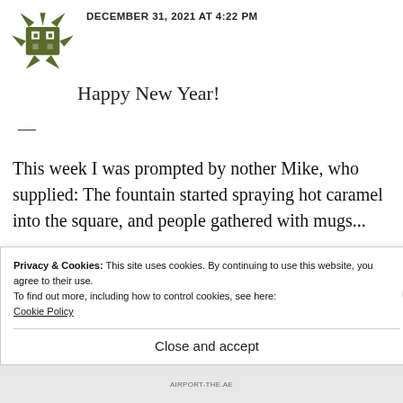[Figure (logo): Olive/dark green stylized creature or character logo icon]
DECEMBER 31, 2021 AT 4:22 PM
Happy New Year!
—
This week I was prompted by nother Mike, who supplied: The fountain started spraying hot caramel into the square, and people gathered with mugs...
Privacy & Cookies: This site uses cookies. By continuing to use this website, you agree to their use.
To find out more, including how to control cookies, see here:
Cookie Policy
Close and accept